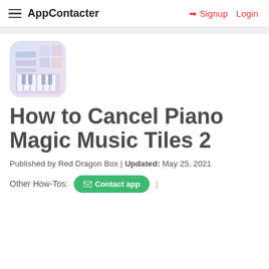AppContacter | Signup | Login
[Figure (illustration): App icon for Piano Magic Music Tiles 2 — a soft pastel blue/lavender square icon with rounded corners showing piano keyboard and tiles visuals]
How to Cancel Piano Magic Music Tiles 2
Published by Red Dragon Box | Updated: May 25, 2021
Other How-Tos: Contact app |